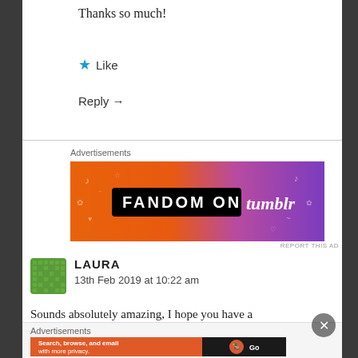Thanks so much!
★ Like
Reply →
Advertisements
[Figure (photo): Fandom on tumblr banner advertisement with orange to purple gradient background and doodle icons]
REPORT THIS AD
LAURA
13th Feb 2019 at 10:22 am
Sounds absolutely amazing, I hope you have a
Advertisements
[Figure (photo): DuckDuckGo advertisement: Search, browse, and email with more privacy. All in One Free App]
REPORT THIS AD